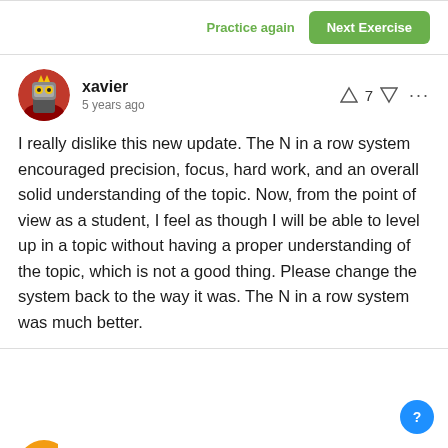Practice again
Next Exercise
xavier
5 years ago
7
I really dislike this new update. The N in a row system encouraged precision, focus, hard work, and an overall solid understanding of the topic. Now, from the point of view as a student, I feel as though I will be able to level up in a topic without having a proper understanding of the topic, which is not a good thing. Please change the system back to the way it was. The N in a row system was much better.